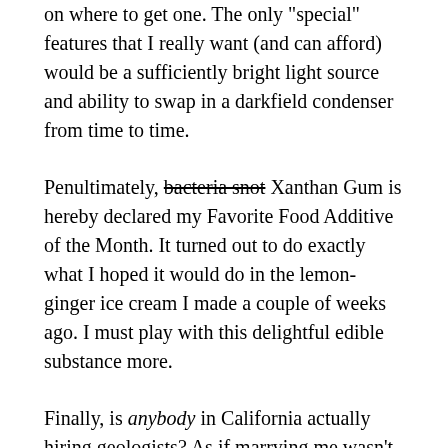on where to get one. The only "special" features that I really want (and can afford) would be a sufficiently bright light source and ability to swap in a darkfield condenser from time to time.
Penultimately, bacteria snot Xanthan Gum is hereby declared my Favorite Food Additive of the Month. It turned out to do exactly what I hoped it would do in the lemon-ginger ice cream I made a couple of weeks ago. I must play with this delightful edible substance more.
Finally, is anybody in California actually hiring geologists? As if marrying me wasn't proof enough of insanity, my wife really wants to move back there. We can't stay here forever in Southeast Texas on just my meager academic staff salary, as nice as the job itself is, and although for months she's been firing off applications all over the country (and even